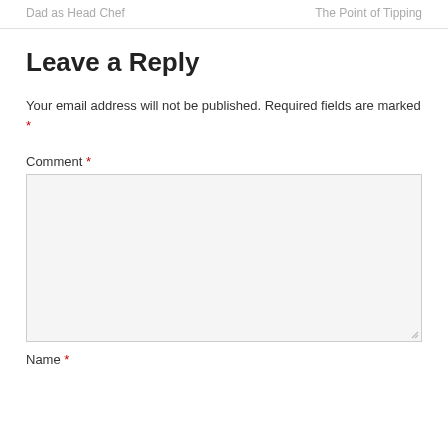Dad as Head Chef    The Point of Tipping
Leave a Reply
Your email address will not be published. Required fields are marked *
Comment *
Name *